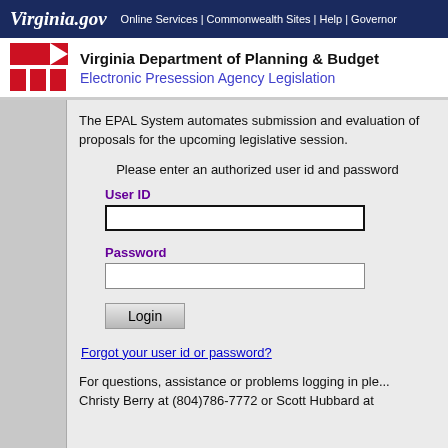Virginia.gov  Online Services | Commonwealth Sites | Help | Governor
[Figure (logo): Virginia Department of Planning and Budget logo with red flag and red squares]
Virginia Department of Planning & Budget
Electronic Presession Agency Legislation
The EPAL System automates submission and evaluation of proposals for the upcoming legislative session.
Please enter an authorized user id and password
User ID
Password
Login
Forgot your user id or password?
For questions, assistance or problems logging in please contact Christy Berry at (804)786-7772 or Scott Hubbard at